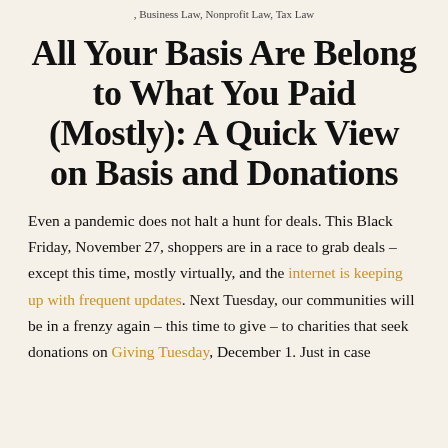, Business Law, Nonprofit Law, Tax Law
All Your Basis Are Belong to What You Paid (Mostly): A Quick View on Basis and Donations
Even a pandemic does not halt a hunt for deals. This Black Friday, November 27, shoppers are in a race to grab deals – except this time, mostly virtually, and the internet is keeping up with frequent updates. Next Tuesday, our communities will be in a frenzy again – this time to give – to charities that seek donations on Giving Tuesday, December 1. Just in case